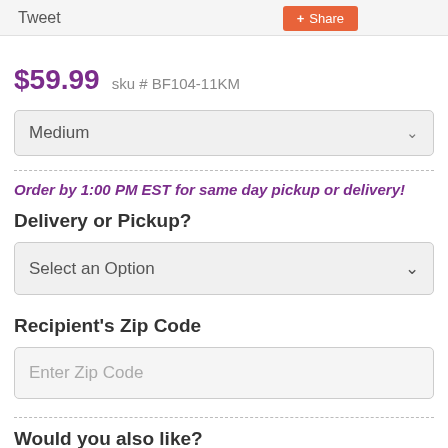Tweet   Share
$59.99   sku # BF104-11KM
Medium
Order by 1:00 PM EST for same day pickup or delivery!
Delivery or Pickup?
Select an Option
Recipient's Zip Code
Enter Zip Code
Would you also like?